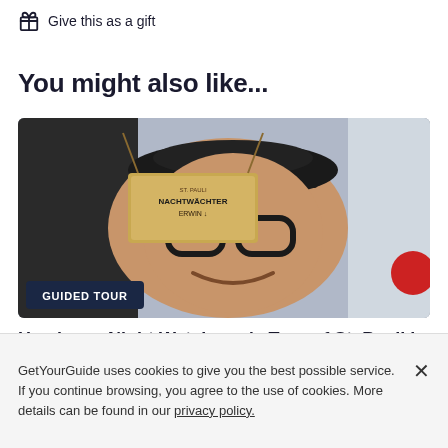Give this as a gift
You might also like...
[Figure (photo): A smiling tour guide wearing a dark flat cap and round glasses, holding up a sign that reads 'ST. PAULI NACHTWÄCHTER ERWIN' with a 'GUIDED TOUR' badge overlaid at the bottom left.]
Hamburg: Night Watchman's Tour of St. Pauli in German
1.5 hours
4.7 (1,063)
From US$ 19.93 per person
GetYourGuide uses cookies to give you the best possible service. If you continue browsing, you agree to the use of cookies. More details can be found in our privacy policy.